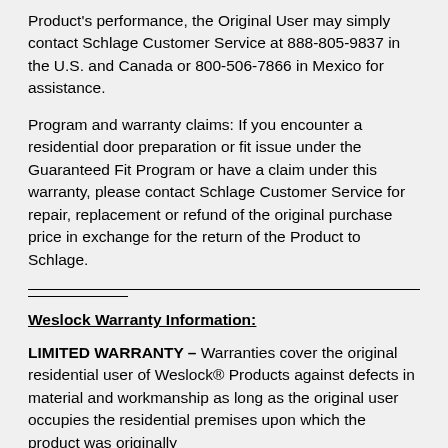Product's performance, the Original User may simply contact Schlage Customer Service at 888-805-9837 in the U.S. and Canada or 800-506-7866 in Mexico for assistance.
Program and warranty claims: If you encounter a residential door preparation or fit issue under the Guaranteed Fit Program or have a claim under this warranty, please contact Schlage Customer Service for repair, replacement or refund of the original purchase price in exchange for the return of the Product to Schlage.
Weslock Warranty Information:
LIMITED WARRANTY – Warranties cover the original residential user of Weslock® Products against defects in material and workmanship as long as the original user occupies the residential premises upon which the product was originally